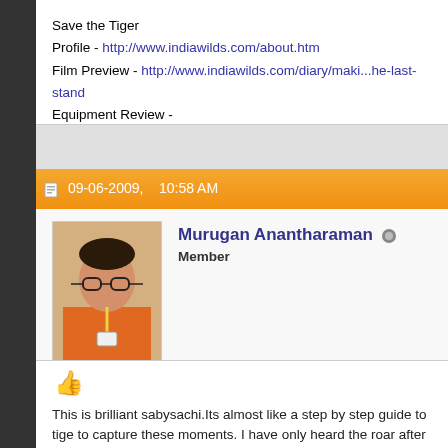Save the Tiger
Profile - http://www.indiawilds.com/about.htm
Film Preview - http://www.indiawilds.com/diary/maki...he-last-stand
Equipment Review - http://www.indiawilds.com/diary/category/equi
[Figure (screenshot): YouTube button with 3K count]
09-06-2009, 10:58 AM
[Figure (photo): Avatar photo of Murugan Anantharaman]
Murugan Anantharaman
Member
This is brilliant sabysachi.Its almost like a step by step guide to tige to capture these moments. I have only heard the roar after the mat few meters apart, but never witnessed the actual event occuring. B